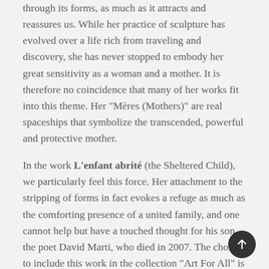through its forms, as much as it attracts and reassures us. While her practice of sculpture has evolved over a life rich from traveling and discovery, she has never stopped to embody her great sensitivity as a woman and a mother. It is therefore no coincidence that many of her works fit into this theme. Her "Mères (Mothers)" are real spaceships that symbolize the transcended, powerful and protective mother.
In the work L'enfant abrité (the Sheltered Child), we particularly feel this force. Her attachment to the stripping of forms in fact evokes a refuge as much as the comforting presence of a united family, and one cannot help but have a touched thought for his son, the poet David Marti, who died in 2007. The choice to include this work in the collection "Art For All" is therefore not trivial. It proves once again the richness of contemporary sculpture and its impact on